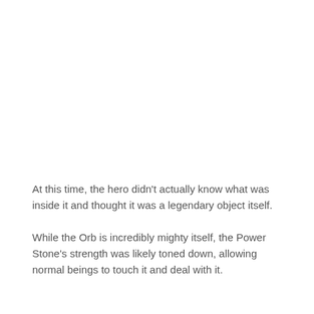At this time, the hero didn't actually know what was inside it and thought it was a legendary object itself.
While the Orb is incredibly mighty itself, the Power Stone's strength was likely toned down, allowing normal beings to touch it and deal with it.